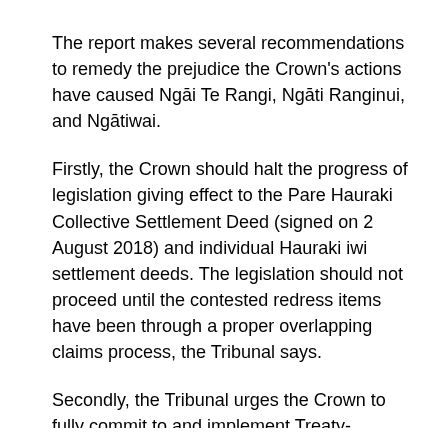The report makes several recommendations to remedy the prejudice the Crown's actions have caused Ngāi Te Rangi, Ngāti Ranginui, and Ngātiwai.
Firstly, the Crown should halt the progress of legislation giving effect to the Pare Hauraki Collective Settlement Deed (signed on 2 August 2018) and individual Hauraki iwi settlement deeds. The legislation should not proceed until the contested redress items have been through a proper overlapping claims process, the Tribunal says.
Secondly, the Tribunal urges the Crown to fully commit to and implement Treaty-compliant policies and processes in settlement negotiations. Tikanga-based resolution processes should be used to clarify overlapping interests and work through any redress disputes. Consultation and information-sharing must be thorough, timely and transparent, especially when the Crown is dealing with parties other than the settling